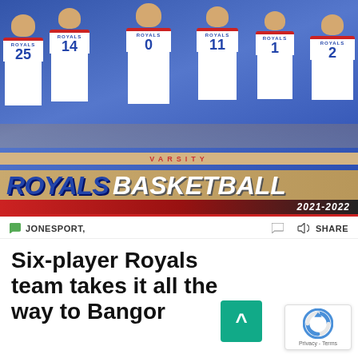[Figure (photo): Team photo of six Royals basketball players wearing white jerseys numbered 25, 14, 0, 11, 1, and 2 against a blue backdrop. Below the players is a banner reading 'VARSITY' above 'ROYALS BASKETBALL' with '2021-2022' in the bottom right.]
JONESPORT,
Six-player Royals team takes it all the way to Bangor